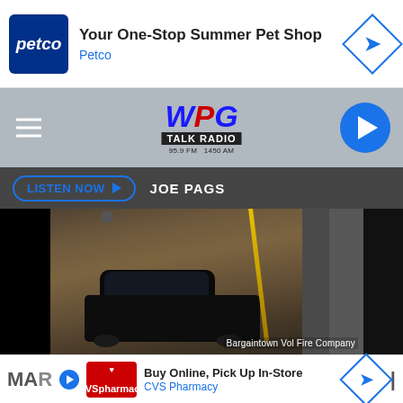[Figure (screenshot): Petco advertisement banner: 'Your One-Stop Summer Pet Shop' with Petco logo and blue navigation arrow]
[Figure (screenshot): WPG Talk Radio navigation bar with hamburger menu, WPG Talk Radio logo (95.9 FM / 1450 AM), and blue play button]
LISTEN NOW ▶   JOE PAGS
[Figure (photo): Nighttime photo of a car submerged in water being pulled by a cable/chain. Image credit: Bargaintown Vol Fire Company]
Bargaintown Vol Fire Company
[Figure (screenshot): CVS Pharmacy advertisement banner: 'Buy Online, Pick Up In-Store' with CVS Pharmacy logo and blue navigation arrow]